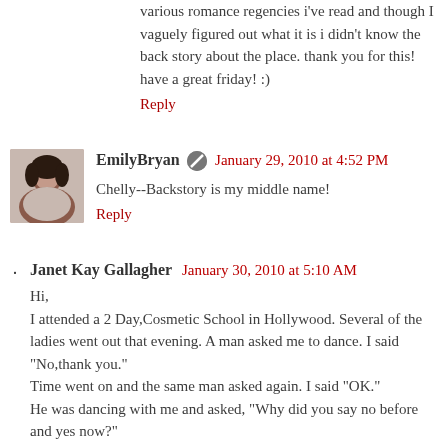various romance regencies i've read and though I vaguely figured out what it is i didn't know the back story about the place. thank you for this! have a great friday! :)
Reply
EmilyBryan [badge] January 29, 2010 at 4:52 PM
Chelly--Backstory is my middle name!
Reply
Janet Kay Gallagher  January 30, 2010 at 5:10 AM
Hi,
I attended a 2 Day,Cosmetic School in Hollywood. Several of the ladies went out that evening. A man asked me to dance. I said "No,thank you."
Time went on and the same man asked again. I said "OK."
He was dancing with me and asked, "Why did you say no before and yes now?"
My response was,"I was afraid I would step on your toes. I had a drink and do not care if I step on them now." He